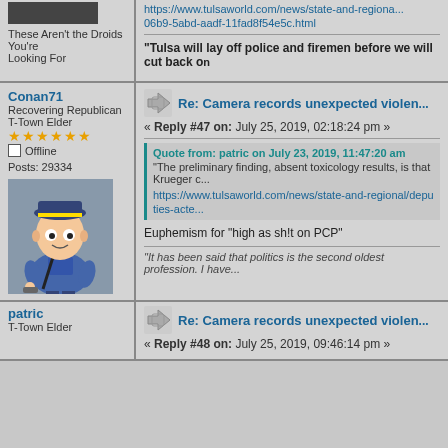These Aren't the Droids You're Looking For
https://www.tulsaworld.com/news/state-and-regional/...06b9-5abd-aadf-11fad8f54e5c.html
"Tulsa will lay off police and firemen before we will cut back on...
Conan71
Recovering Republican
T-Town Elder
Offline
Posts: 29334
Re: Camera records unexpected violen...
« Reply #47 on: July 25, 2019, 02:18:24 pm »
Quote from: patric on July 23, 2019, 11:47:20 am
"The preliminary finding, absent toxicology results, is that Krueger c...
https://www.tulsaworld.com/news/state-and-regional/deputies-acte...
Euphemism for "high as sh!t on PCP"
"It has been said that politics is the second oldest profession. I have...
patric
Re: Camera records unexpected violen...
T-Town Elder
« Reply #48 on: July 25, 2019, 09:46:14 pm »